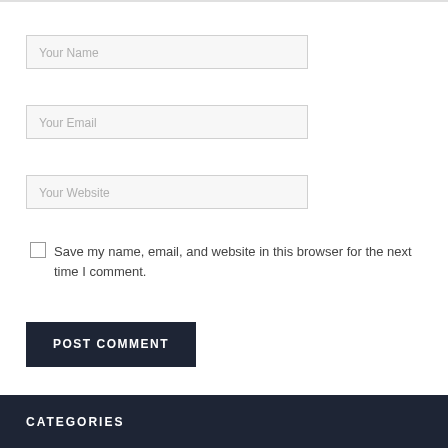Your Name
Your Email
Your Website
Save my name, email, and website in this browser for the next time I comment.
POST COMMENT
CATEGORIES